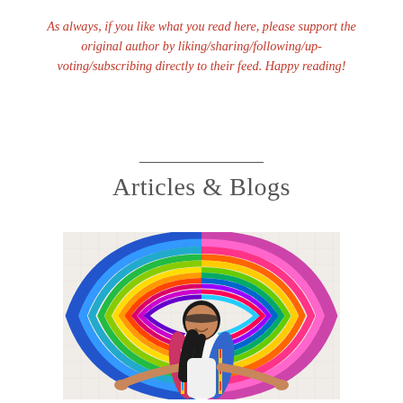As always, if you like what you read here, please support the original author by liking/sharing/following/up-voting/subscribing directly to their feed. Happy reading!
Articles & Blogs
[Figure (photo): A smiling woman in a white dress and colorful striped cardigan stands with arms outstretched in front of a large colorful yarn/textile art installation resembling wings, mounted on a white tiled wall.]